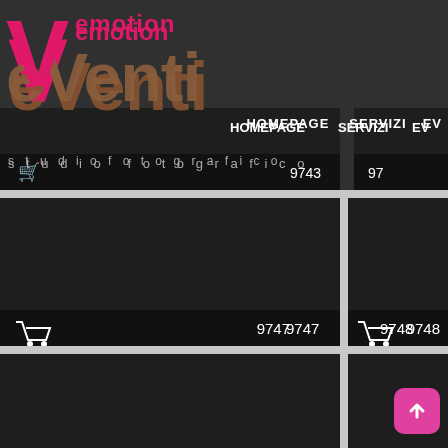[Figure (screenshot): eVenti emotion studio fotografico website screenshot showing a photo gallery grid with shopping cart icons and image numbers 9743, 9747, 9748, 9749, 9752, 9753, 9754, 9757, 9758, 9759. Navigation bar shows HOMEPAGE, SERVIZI, EV links.]
eVenti emotion studio fotografico | HOMEPAGE  SERVIZI  EV